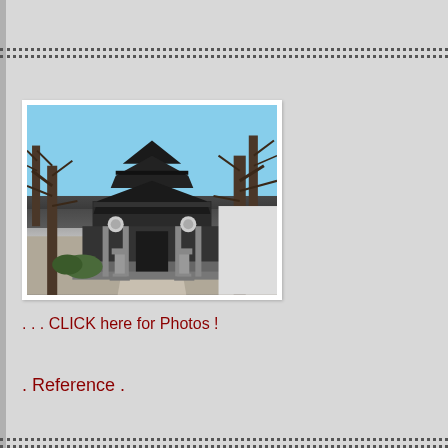[Figure (photo): Photograph of a traditional Japanese temple building with dark tiled roof, stone lanterns, and bare trees in winter, viewed from the front approach path]
. . . CLICK here for Photos !
. Reference .